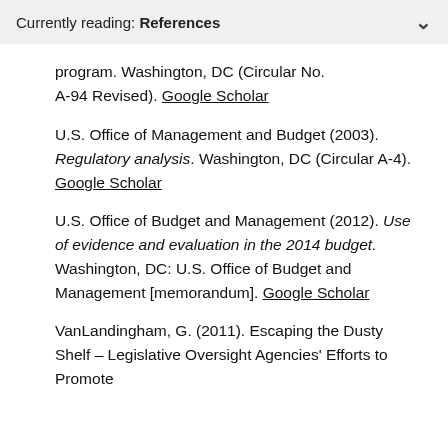Currently reading: References
program. Washington, DC (Circular No. A-94 Revised). Google Scholar
U.S. Office of Management and Budget (2003). Regulatory analysis. Washington, DC (Circular A-4). Google Scholar
U.S. Office of Budget and Management (2012). Use of evidence and evaluation in the 2014 budget. Washington, DC: U.S. Office of Budget and Management [memorandum]. Google Scholar
VanLandingham, G. (2011). Escaping the Dusty Shelf – Legislative Oversight Agencies' Efforts to Promote